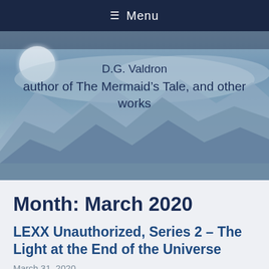≡ Menu
[Figure (illustration): Hero banner image with misty blue mountain landscape and large moon in upper left. Overlaid text reads 'D.G. Valdron' and 'author of The Mermaid's Tale, and other works']
Month: March 2020
LEXX Unauthorized, Series 2 – The Light at the End of the Universe
March 31, 2020